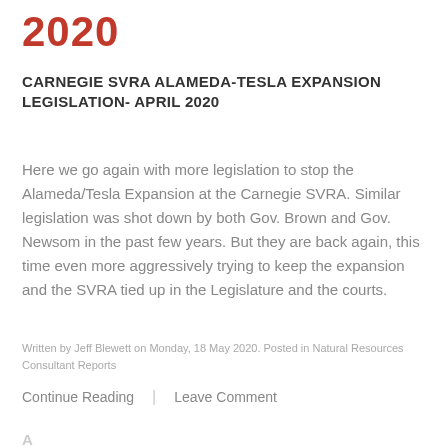2020
CARNEGIE SVRA ALAMEDA-TESLA EXPANSION LEGISLATION- APRIL 2020
Here we go again with more legislation to stop the Alameda/Tesla Expansion at the Carnegie SVRA. Similar legislation was shot down by both Gov. Brown and Gov. Newsom in the past few years. But they are back again, this time even more aggressively trying to keep the expansion and the SVRA tied up in the Legislature and the courts.
Written by Jeff Blewett on Monday, 18 May 2020. Posted in Natural Resources Consultant Reports
Continue Reading  |  Leave Comment